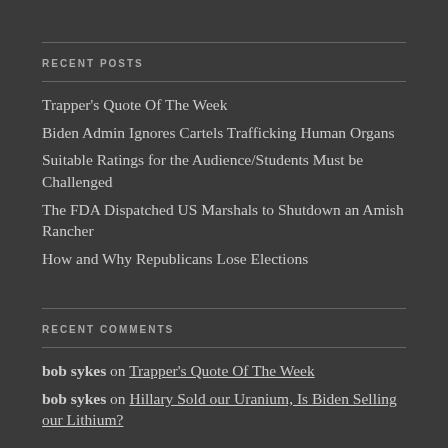RECENT POSTS
Trapper's Quote Of The Week
Biden Admin Ignores Cartels Trafficking Human Organs
Suitable Ratings for the Audience/Students Must be Challenged
The FDA Dispatched US Marshals to Shutdown an Amish Rancher
How and Why Republicans Lose Elections
RECENT COMMENTS
bob sykes on Trapper's Quote Of The Week
bob sykes on Hillary Sold our Uranium, Is Biden Selling our Lithium?